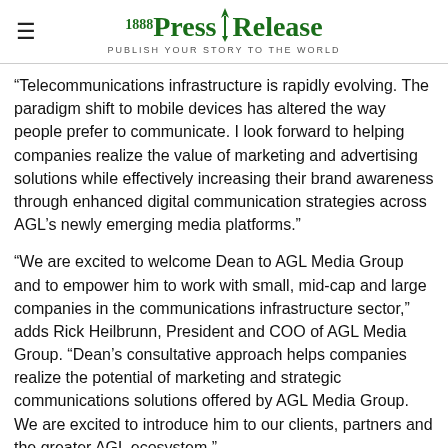1888 PressRelease — PUBLISH YOUR STORY TO THE WORLD
“Telecommunications infrastructure is rapidly evolving. The paradigm shift to mobile devices has altered the way people prefer to communicate. I look forward to helping companies realize the value of marketing and advertising solutions while effectively increasing their brand awareness through enhanced digital communication strategies across AGL’s newly emerging media platforms.”
“We are excited to welcome Dean to AGL Media Group and to empower him to work with small, mid-cap and large companies in the communications infrastructure sector,” adds Rick Heilbrunn, President and COO of AGL Media Group. “Dean’s consultative approach helps companies realize the potential of marketing and strategic communications solutions offered by AGL Media Group. We are excited to introduce him to our clients, partners and the greater AGL ecosystem.”
AGL Media Group transitioned to an all-digital publication model in 2020. The shift fortified the company’s ability to leverage digital advertising and program opportunities for clients in the communications infrastructure sector. AGL